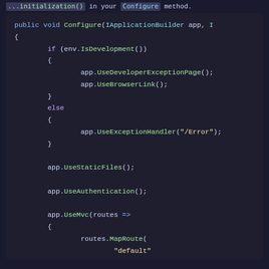...() in your Configure method.
[Figure (screenshot): Dark-themed code editor screenshot showing a C# ASP.NET Configure method with conditional middleware registration including UseDeveloperExceptionPage, UseBrowserLink, UseExceptionHandler, UseStaticFiles, UseAuthentication, and UseMvc with route configuration.]